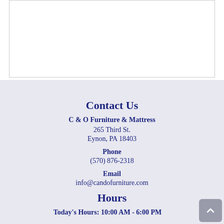[Figure (other): White bordered box at top of page, content area placeholder]
Contact Us
C & O Furniture & Mattress
265 Third St.
Eynon, PA 18403
Phone
(570) 876-2318
Email
info@candofurniture.com
Hours
Today's Hours: 10:00 AM - 6:00 PM